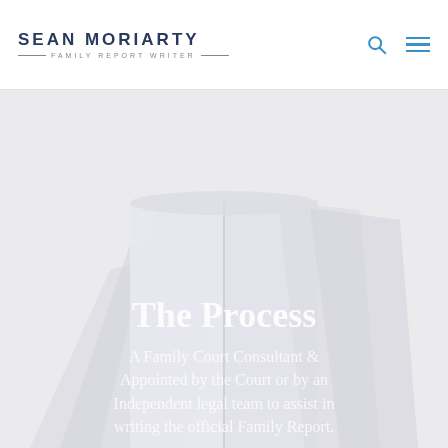SEAN MORIARTY — FAMILY REPORT WRITER —
[Figure (illustration): Decorative background illustration of an open book / document pages fanned out, light grey tones, filling the lower two-thirds of the page]
The Process
A Family Court Consultant & Appointed by the Court or by an Independent legal team to assist in writing the official Family Report.